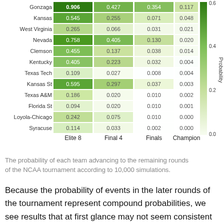[Figure (table-as-image): NCAA Tournament Advancement Probabilities (heatmap)]
The probability of each team advancing to the remaining rounds of the NCAA tournament according to 10,000 simulations.
Because the probability of events in the later rounds of the tournament represent compound probabilities, we see results that at first glance may not seem consistent with